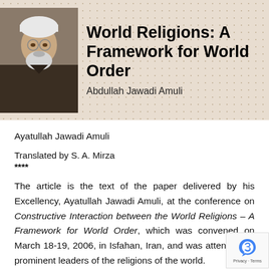[Figure (photo): Portrait photo of an elderly bearded man in religious clerical attire with glasses and white turban]
World Religions: A Framework for World Order
Abdullah Jawadi Amuli
Ayatullah Jawadi Amuli
Translated by S. A. Mirza
****
The article is the text of the paper delivered by his Excellency, Ayatullah Jawadi Amuli, at the conference on Constructive Interaction between the World Religions – A Framework for World Order, which was convened on March 18-19, 2006, in Isfahan, Iran, and was attended by prominent leaders of the religions of the world.